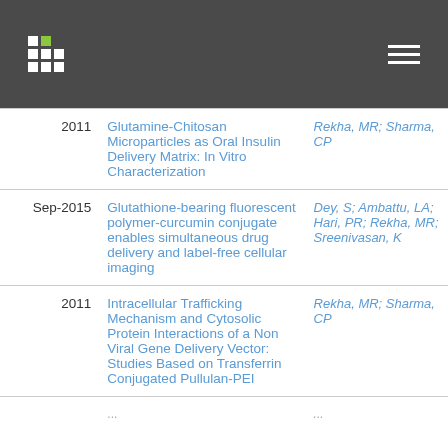| Year | Title | Authors |
| --- | --- | --- |
| 2011 | Glutamine-Chitosan Microparticles as Oral Insulin Delivery Matrix: In Vitro Characterization | Rekha, MR; Sharma, CP |
| Sep-2015 | Glutathione-bearing fluorescent polymer-curcumin conjugate enables simultaneous drug delivery and label-free cellular imaging | Dey, S; Ambattu, LA; Hari, PR; Rekha, MR; Sreenivasan, K |
| 2011 | Intracellular Trafficking Mechanism and Cytosolic Protein Interactions of a Non Viral Gene Delivery Vector: Studies Based on Transferrin Conjugated Pullulan-PEI | Rekha, MR; Sharma, CP |
|  | ... | ... |